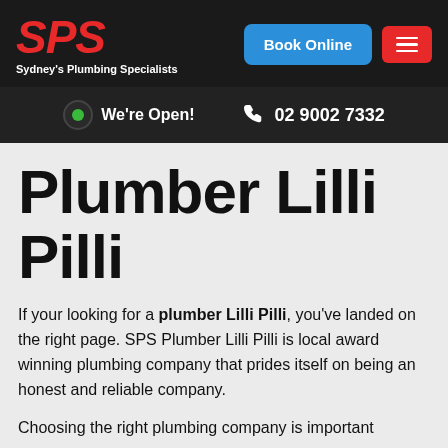SPS Sydney's Plumbing Specialists | Book Online | Menu
We're Open! | 02 9002 7332
Plumber Lilli Pilli
If your looking for a plumber Lilli Pilli, you've landed on the right page. SPS Plumber Lilli Pilli is local award winning plumbing company that prides itself on being an honest and reliable company.
Choosing the right plumbing company is important